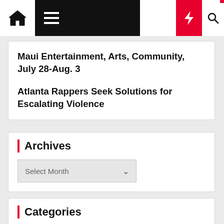Navigation bar with home icon, menu, moon icon, lightning bolt, and search icon
Maui Entertainment, Arts, Community, July 28-Aug. 3
Atlanta Rappers Seek Solutions for Escalating Violence
Archives
Select Month
Categories
Select Category